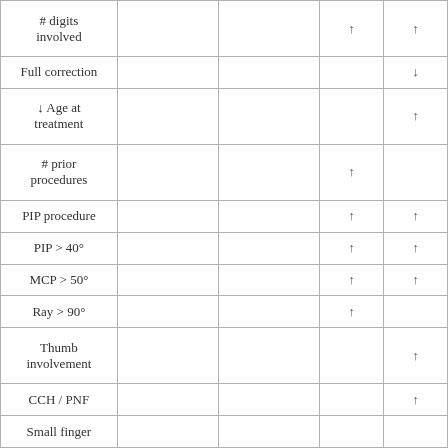| Factor |  |  |  |  |
| --- | --- | --- | --- | --- |
| # digits involved |  |  | ↑ | ↑ |
| Full correction |  |  |  | ↓ |
| ↓ Age at treatment |  |  |  | ↑ |
| # prior procedures |  |  | ↑ |  |
| PIP procedure |  |  | ↑ | ↑ |
| PIP > 40° |  |  | ↑ | ↑ |
| MCP > 50° |  |  | ↑ | ↑ |
| Ray > 90° |  |  | ↑ |  |
| Thumb involvement |  |  |  | ↑ |
| CCH / PNF |  |  |  | ↑ |
| Small finger |  |  |  |  |